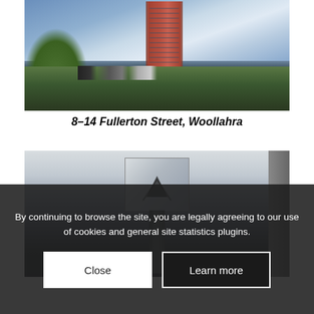[Figure (photo): Exterior photo of a tall residential tower block at 8-14 Fullerton Street, Woollahra. Red brick high-rise building surrounded by trees and parked cars on a cloudy day.]
8–14 Fullerton Street, Woollahra
[Figure (photo): Close-up photo of the top of a tall building showing a rooftop mechanical or equipment housing structure with dark markings, partially obscured by the cookie consent overlay.]
By continuing to browse the site, you are legally agreeing to our use of cookies and general site statistics plugins.
Close
Learn more